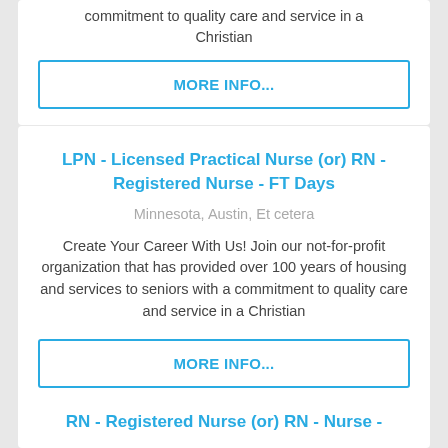commitment to quality care and service in a Christian
MORE INFO...
LPN - Licensed Practical Nurse (or) RN - Registered Nurse - FT Days
Minnesota, Austin, Et cetera
Create Your Career With Us! Join our not-for-profit organization that has provided over 100 years of housing and services to seniors with a commitment to quality care and service in a Christian
MORE INFO...
RN - Registered Nurse (or) RN - ...